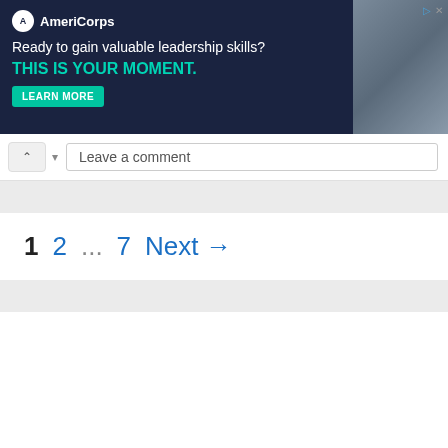[Figure (screenshot): AmeriCorps advertisement banner with dark navy background, logo, text 'Ready to gain valuable leadership skills? THIS IS YOUR MOMENT.' with teal button 'LEARN MORE' and photo of people on right]
Leave a comment
1  2  ...  7  Next →
Search ...